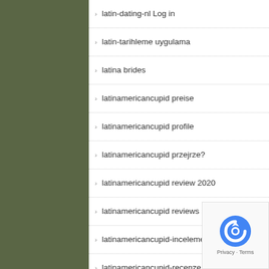latin-dating-nl Log in
latin-tarihleme uygulama
latina brides
latinamericancupid preise
latinamericancupid profile
latinamericancupid przejrze?
latinamericancupid review 2020
latinamericancupid reviews
latinamericancupid-inceleme visitors
latinamericancupid-recenze Recenze
latinas-dating review
latinomeetup come funziona
latinomeetup gratuit
latinomeetup sign in
LatinoMeetup visitors
latinomeetup web